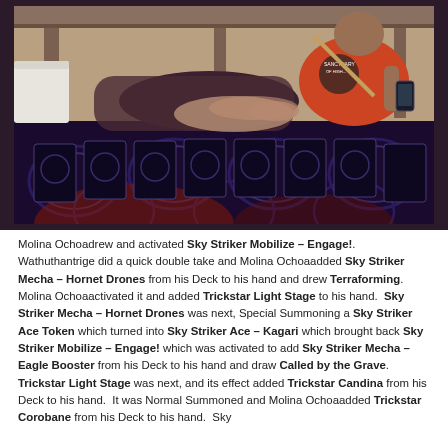[Figure (photo): A person in a red/orange graphic t-shirt reading 'SANCTUARY OF HIG...' reaches across a gaming table covered with Yu-Gi-Oh! trading cards laid out on a dark decorative playmat. Another person wearing dark clothing is seated across the table.]
Molina Ochoadrew and activated Sky Striker Mobilize – Engage!. Wathuthantrige did a quick double take and Molina Ochoaadded Sky Striker Mecha – Hornet Drones from his Deck to his hand and drew Terraforming. Molina Ochoaactivated it and added Trickstar Light Stage to his hand.  Sky Striker Mecha – Hornet Drones was next, Special Summoning a Sky Striker Ace Token which turned into Sky Striker Ace – Kagari which brought back Sky Striker Mobilize – Engage! which was activated to add Sky Striker Mecha – Eagle Booster from his Deck to his hand and draw Called by the Grave.  Trickstar Light Stage was next, and its effect added Trickstar Candina from his Deck to his hand.  It was Normal Summoned and Molina Ochoaadded Trickstar Corobane from his Deck to his hand.  Sky